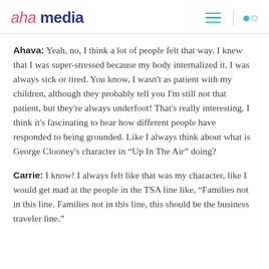aha media
Ahava: Yeah, no, I think a lot of people felt that way. I knew that I was super-stressed because my body internalized it. I was always sick or tired. You know, I wasn't as patient with my children, although they probably tell you I'm still not that patient, but they're always underfoot! That's really interesting. I think it's fascinating to hear how different people have responded to being grounded. Like I always think about what is George Clooney's character in “Up In The Air” doing?
Carrie: I know! I always felt like that was my character, like I would get mad at the people in the TSA line like, “Families not in this line. Families not in this line, this should be the business traveler line.”